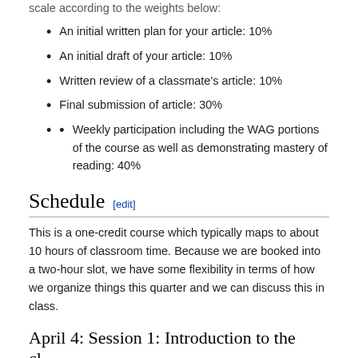scale according to the weights below:
An initial written plan for your article: 10%
An initial draft of your article: 10%
Written review of a classmate's article: 10%
Final submission of article: 30%
Weekly participation including the WAG portions of the course as well as demonstrating mastery of reading: 40%
Schedule
This is a one-credit course which typically maps to about 10 hours of classroom time. Because we are booked into a two-hour slot, we have some flexibility in terms of how we organize things this quarter and we can discuss this in class.
April 4: Session 1: Introduction to the cl...